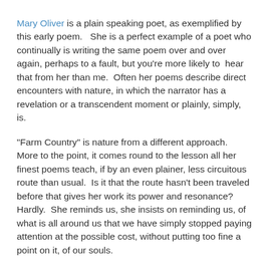Mary Oliver is a plain speaking poet, as exemplified by this early poem.   She is a perfect example of a poet who continually is writing the same poem over and over again, perhaps to a fault, but you're more likely to  hear that from her than me.  Often her poems describe direct encounters with nature, in which the narrator has a revelation or a transcendent moment or plainly, simply, is.
"Farm Country" is nature from a different approach.  More to the point, it comes round to the lesson all her finest poems teach, if by an even plainer, less circuitous route than usual.  Is it that the route hasn't been traveled before that gives her work its power and resonance?  Hardly.  She reminds us, she insists on reminding us, of what is all around us that we have simply stopped paying attention at the possible cost, without putting too fine a point on it, of our souls.
These words are ones which, in translation, Issa and Bashō most assuredly would concur.